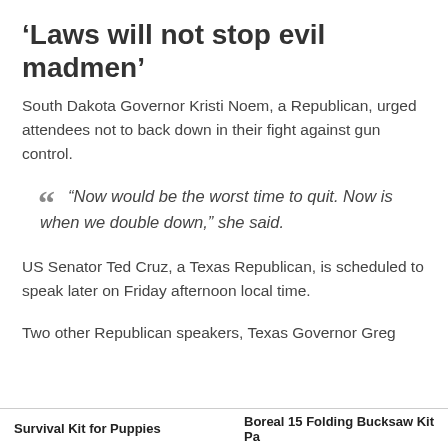‘Laws will not stop evil madmen’
South Dakota Governor Kristi Noem, a Republican, urged attendees not to back down in their fight against gun control.
“Now would be the worst time to quit. Now is when we double down,” she said.
US Senator Ted Cruz, a Texas Republican, is scheduled to speak later on Friday afternoon local time.
Two other Republican speakers, Texas Governor Greg
Survival Kit for Puppies   Boreal 15 Folding Bucksaw Kit Pa